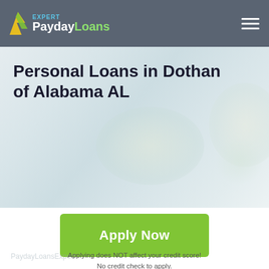PaydayLoans Expert
Personal Loans in Dothan of Alabama AL
[Figure (photo): Blurred hero background image with soft light tones]
Apply Now
Applying does NOT affect your credit score! No credit check to apply.